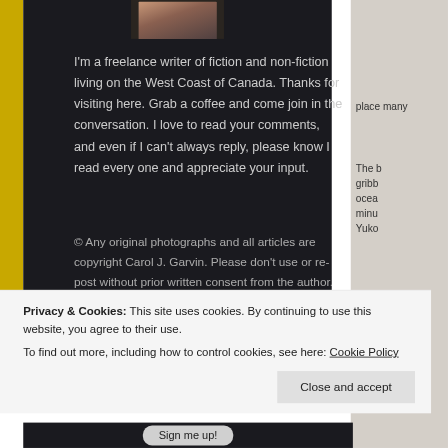[Figure (photo): Portrait photo of a smiling woman with glasses, partially visible at top of dark panel]
I'm a freelance writer of fiction and non-fiction living on the West Coast of Canada. Thanks for visiting here. Grab a coffee and come join in the conversation. I love to read your comments, and even if I can't always reply, please know I read every one and appreciate your input.
© Any original photographs and all articles are copyright Carol J. Garvin. Please don't use or re-post without prior written consent from the author. Thanks!
place many
The b gribb ocea minu Yuko
Privacy & Cookies: This site uses cookies. By continuing to use this website, you agree to their use.
To find out more, including how to control cookies, see here: Cookie Policy
Close and accept
Sign me up!